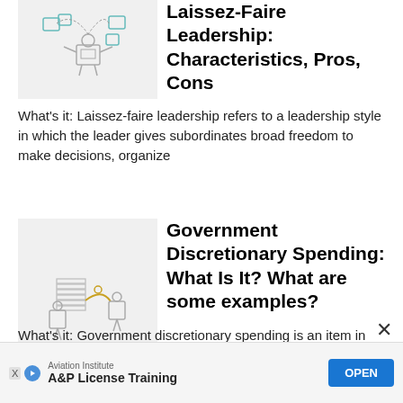[Figure (illustration): Small illustration of a figure with devices/objects connected in a circle, representing Laissez-faire leadership concept]
Laissez-Faire Leadership: Characteristics, Pros, Cons
What's it: Laissez-faire leadership refers to a leadership style in which the leader gives subordinates broad freedom to make decisions, organize
[Figure (illustration): Small illustration of two square figures connected by a line/chain with stacked items, representing government discretionary spending concept]
Government Discretionary Spending: What Is It? What are some examples?
What's it: Government discretionary spending is an item in government spending where the allocation
Aviation Institute
A&P License Training OPEN